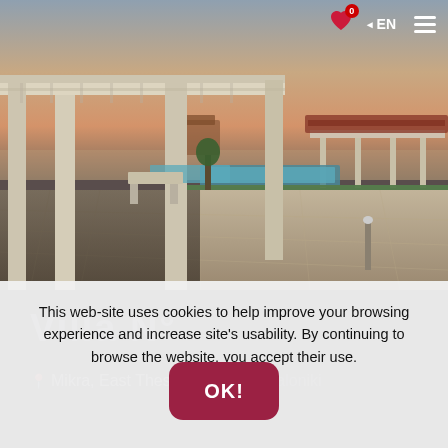[Figure (photo): Outdoor luxury villa terrace with white pergola structures, swimming pool, green lawn, tiled patio, and a sunset sky with warm orange and grey tones.]
0 ◄ EN ≡
This web-site uses cookies to help improve your browsing experience and increase site's usability. By continuing to browse the website, you accept their use.
Villa N°
📍 Mikra, East Thessaloniki, Thessaloniki
OK!